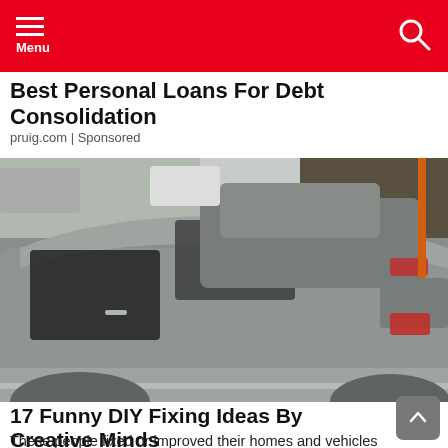Menu
Best Personal Loans For Debt Consolidation
pruig.com | Sponsored
[Figure (photo): Outdoor parking lot scene with silver/grey cars parked close together, trees and road visible in background]
17 Funny DIY Fixing Ideas By Creative Minds
These people fixed or improved their homes and vehicles